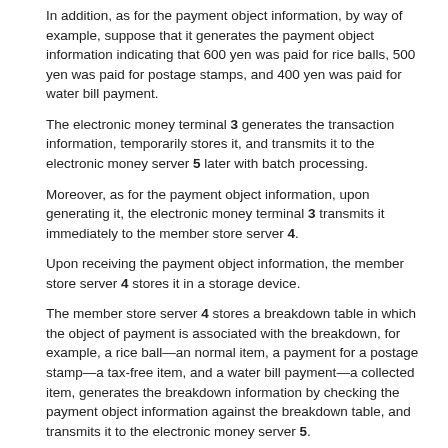In addition, as for the payment object information, by way of example, suppose that it generates the payment object information indicating that 600 yen was paid for rice balls, 500 yen was paid for postage stamps, and 400 yen was paid for water bill payment.
The electronic money terminal 3 generates the transaction information, temporarily stores it, and transmits it to the electronic money server 5 later with batch processing.
Moreover, as for the payment object information, upon generating it, the electronic money terminal 3 transmits it immediately to the member store server 4.
Upon receiving the payment object information, the member store server 4 stores it in a storage device.
The member store server 4 stores a breakdown table in which the object of payment is associated with the breakdown, for example, a rice ball—an normal item, a payment for a postage stamp—a tax-free item, and a water bill payment—a collected item, generates the breakdown information by checking the payment object information against the breakdown table, and transmits it to the electronic money server 5.
Next, by using FIG. 11, point calculation processing performed by the electronic money server 5 is explained.